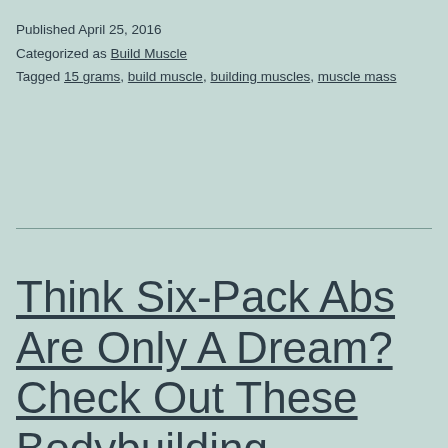Published April 25, 2016
Categorized as Build Muscle
Tagged 15 grams, build muscle, building muscles, muscle mass
Think Six-Pack Abs Are Only A Dream? Check Out These Bodybuilding